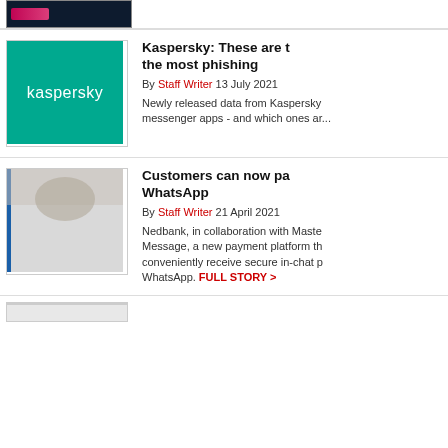[Figure (screenshot): Partial cropped image at the top of the page, dark background with pink/red graphic elements visible]
[Figure (logo): Kaspersky logo — white text on teal/green background]
Kaspersky: These are the most phishing
By Staff Writer 13 July 2021
Newly released data from Kaspersky reveals which messenger apps - and which ones ar...
[Figure (photo): Partial photograph, partially cropped, light background]
Customers can now pay via WhatsApp
By Staff Writer 21 April 2021
Nedbank, in collaboration with Maste... Message, a new payment platform th... conveniently receive secure in-chat p... WhatsApp. FULL STORY >
[Figure (photo): Partial image at bottom, barely visible]